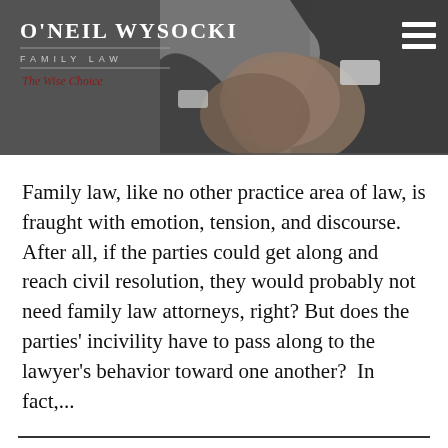[Figure (photo): O'Neil Wysocki Family Law website header with logo, tagline 'The Wise Choice', hamburger menu icon, and a background photo of two people in business suits shaking hands]
Family law, like no other practice area of law, is fraught with emotion, tension, and discourse. After all, if the parties could get along and reach civil resolution, they would probably not need family law attorneys, right? But does the parties' incivility have to pass along to the lawyer's behavior toward one another?  In fact,...